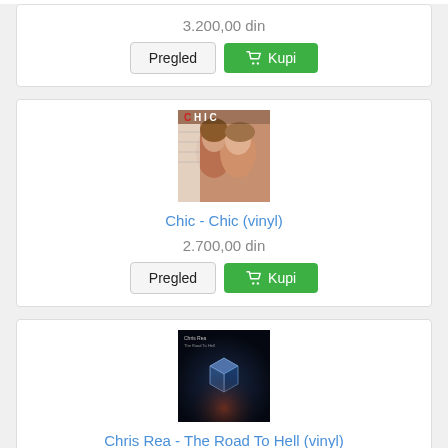3.200,00 din
Pregled  Kupi
[Figure (photo): Album cover of Chic - Chic (vinyl), showing two women with the word CHIC at the top]
Chic - Chic (vinyl)
2.700,00 din
Pregled  Kupi
[Figure (photo): Album cover of Chris Rea - The Road To Hell (vinyl), showing a dark background with a glowing cube]
Chris Rea - The Road To Hell (vinyl)